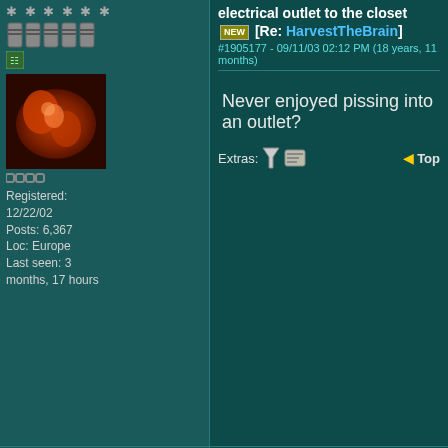electrical outlet to the closet [NEW] [Re: HarvestTheBrain]
#1905177 - 09/11/03 02:12 PM (18 years, 11 months)
Registered: 12/22/02
Posts: 6,367
Loc: Europe
Last seen: 3 months, 17 hours
Never enjoyed pissing into an outlet?
Extras:
luvdemshrooms
Two inch dick..but it spins!?
Registered: 11/29/01
Posts: 34,246
Loc: Lost In Space
Re: DoITyourself: How to add an electrical outlet to the closet [NEW] [Re: World Spirit]
#1905713 - 09/11/03 03:43 PM (18 years, 11 months)
Quote:
Enter said:
What's your intention by that intense kind of dialogue?
Believe it or not there was no intense...